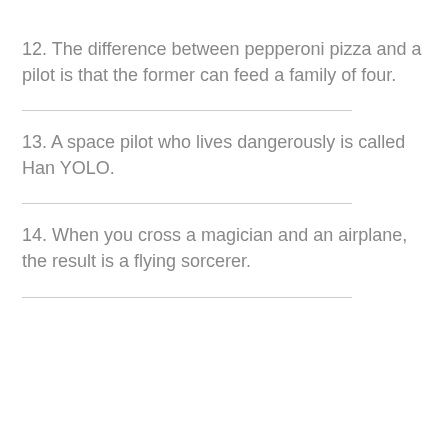12. The difference between pepperoni pizza and a pilot is that the former can feed a family of four.
13. A space pilot who lives dangerously is called Han YOLO.
14. When you cross a magician and an airplane, the result is a flying sorcerer.